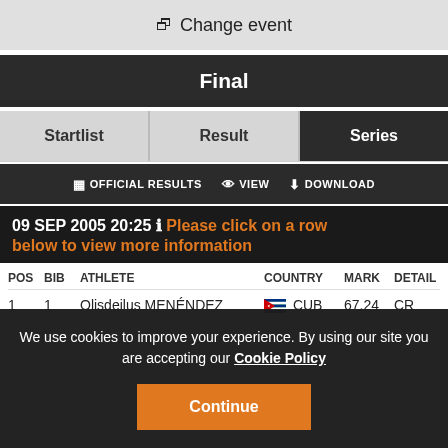Change event
Final
Startlist | Result | Series
OFFICIAL RESULTS  VIEW  DOWNLOAD
09 SEP 2005 20:25  Please click on a row below to view more information
| POS | BIB | ATHLETE | COUNTRY | MARK | DETAIL |
| --- | --- | --- | --- | --- | --- |
| 1 | 1 | Olisdeilus MENÉNDEZ | CUB | 67.24 | CR |
We use cookies to improve your experience. By using our site you are accepting our Cookie Policy
Continue